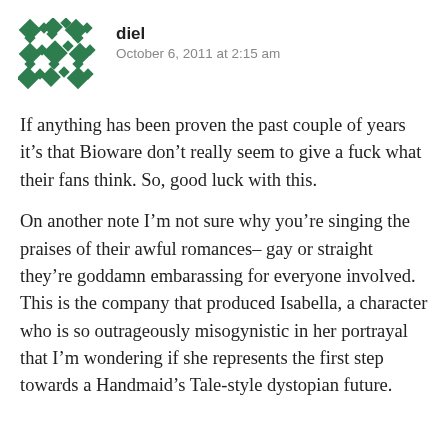[Figure (illustration): Green geometric/diamond pattern avatar icon for user 'diel']
diel
October 6, 2011 at 2:15 am
If anything has been proven the past couple of years it's that Bioware don't really seem to give a fuck what their fans think. So, good luck with this.
On another note I'm not sure why you're singing the praises of their awful romances– gay or straight they're goddamn embarassing for everyone involved. This is the company that produced Isabella, a character who is so outrageously misogynistic in her portrayal that I'm wondering if she represents the first step towards a Handmaid's Tale-style dystopian future.